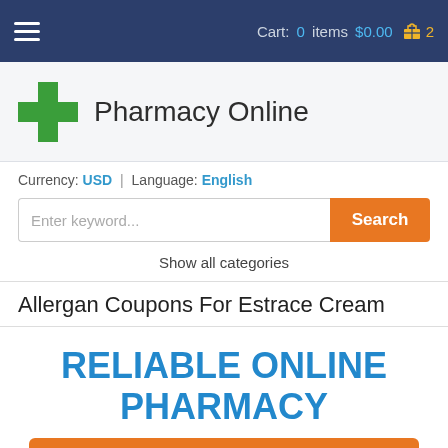Cart: 0 items $0.00 2
[Figure (logo): Green cross logo for Pharmacy Online]
Pharmacy Online
Currency: USD | Language: English
Enter keyword... Search
Show all categories
Allergan Coupons For Estrace Cream
RELIABLE ONLINE PHARMACY
> Click here to order now